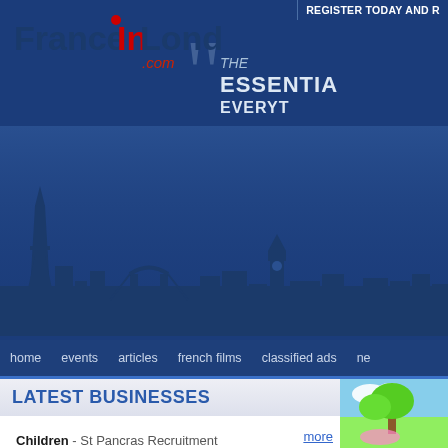[Figure (screenshot): FranceInLondon.com website header with logo showing Paris and London skyline silhouette, tagline 'THE ESSENTIAL EVERY...' and navigation bar with home, events, articles, french films, classified ads, ne...]
REGISTER TODAY AND R
FranceInLondon.com
THE ESSENTIAL EVERYT
LATEST BUSINESSES
Children - St Pancras Recruitment
Health - Expat Assure
Food - Europafood.xb
Holidays - The White House Club
more